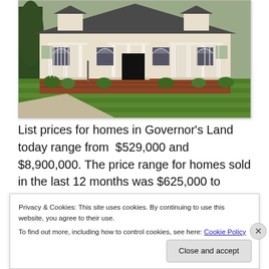[Figure (photo): Photograph of a large two-story white colonial-style home with front porch, dormers, brick foundation, and manicured green lawn and shrubs.]
List prices for homes in Governor’s Land today range from  $529,000 and $8,900,000. The price range for homes sold in the last 12 months was $625,000 to
Privacy & Cookies: This site uses cookies. By continuing to use this website, you agree to their use.
To find out more, including how to control cookies, see here: Cookie Policy